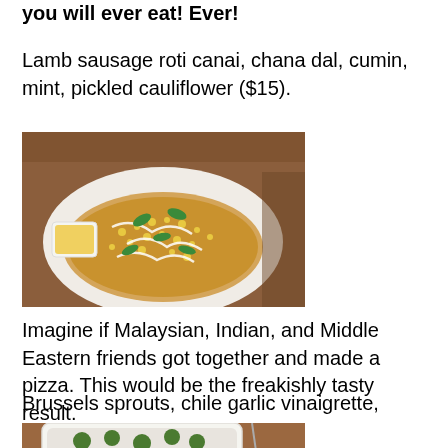you will ever eat! Ever!
Lamb sausage roti canai, chana dal, cumin, mint, pickled cauliflower ($15).
[Figure (photo): A flatbread (roti canai) topped with lamb sausage, chana dal, corn, white drizzle sauce, and fresh mint leaves, served on a white plate with a small bowl of yellow and green accompaniments on a wooden table.]
Imagine if Malaysian, Indian, and Middle Eastern friends got together and made a pizza. This would be the freakishly tasty result.
Brussels sprouts, chile garlic vinaigrette, sesame ($9).
[Figure (photo): A white bowl containing Brussels sprouts with chile garlic vinaigrette and sesame, partially visible at the bottom of the page.]